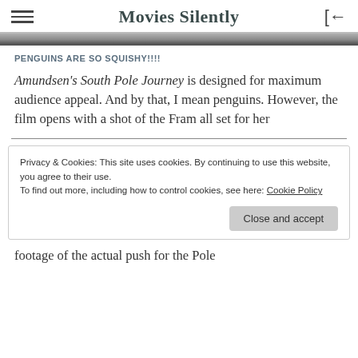Movies Silently
[Figure (photo): Grayscale image strip showing top of a photograph]
PENGUINS ARE SO SQUISHY!!!!
Amundsen's South Pole Journey is designed for maximum audience appeal. And by that, I mean penguins. However, the film opens with a shot of the Fram all set for her
Privacy & Cookies: This site uses cookies. By continuing to use this website, you agree to their use.
To find out more, including how to control cookies, see here: Cookie Policy
footage of the actual push for the Pole